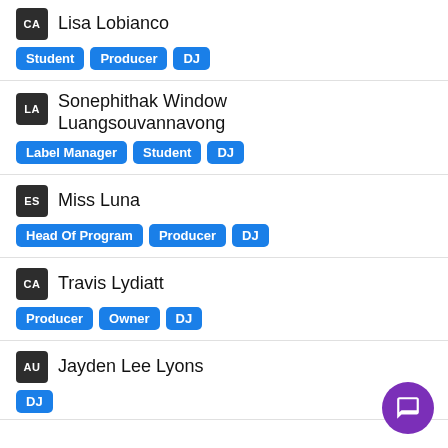CA  Lisa Lobianco — Student, Producer, DJ
LA  Sonephithak Window Luangsouvannavong — Label Manager, Student, DJ
ES  Miss Luna — Head Of Program, Producer, DJ
CA  Travis Lydiatt — Producer, Owner, DJ
AU  Jayden Lee Lyons — DJ